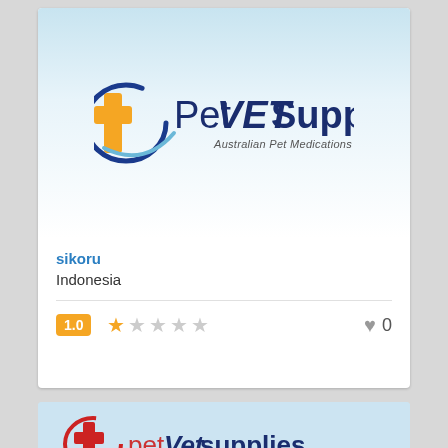[Figure (logo): PetVET Supplies logo with orange cross icon and blue circular swoosh, text reads PetVETSupplies with tagline Australian Pet Medications]
sikoru
Indonesia
1.0 ★☆☆☆☆  ♥ 0
[Figure (screenshot): Partial second card showing another PetVetSupplies logo in red and blue, partially cropped at bottom of page]